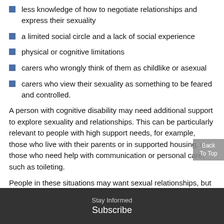less knowledge of how to negotiate relationships and express their sexuality
a limited social circle and a lack of social experience
physical or cognitive limitations
carers who wrongly think of them as childlike or asexual
carers who view their sexuality as something to be feared and controlled.
A person with cognitive disability may need additional support to explore sexuality and relationships. This can be particularly relevant to people with high support needs, for example, those who live with their parents or in supported housing, or those who need help with communication or personal care, such as toileting.
People in these situations may want sexual relationships, but wrongly, this may not be permitted by their parents or carers. They may lack the privacy needed for sexual activity
Stay Informed
Subscribe